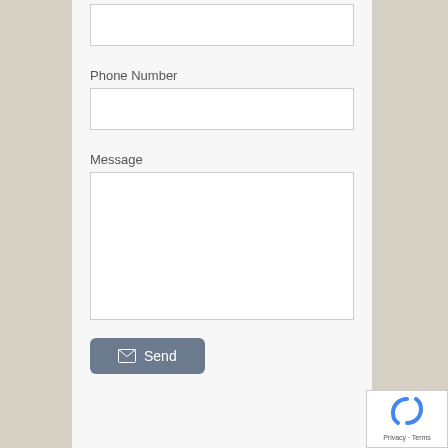[Figure (screenshot): Partial form input box at the top of the page (no label visible)]
Phone Number
[Figure (screenshot): Phone Number input text field, empty]
Message
[Figure (screenshot): Message textarea input, empty, tall]
[Figure (screenshot): Send button with envelope icon and text 'Send']
[Figure (screenshot): reCAPTCHA badge in bottom right corner with Privacy - Terms text]